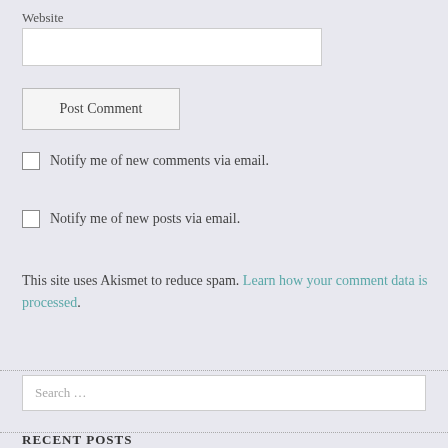Website
Post Comment
Notify me of new comments via email.
Notify me of new posts via email.
This site uses Akismet to reduce spam. Learn how your comment data is processed.
Search …
RECENT POSTS